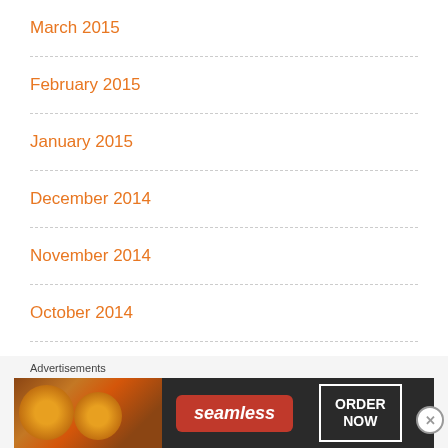March 2015
February 2015
January 2015
December 2014
November 2014
October 2014
September 2014
August 2014
[Figure (screenshot): Seamless food ordering advertisement banner with pizza image, Seamless logo and ORDER NOW button]